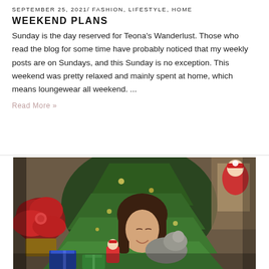SEPTEMBER 25, 2021/ FASHION, LIFESTYLE, HOME
WEEKEND PLANS
Sunday is the day reserved for Teona's Wanderlust. Those who read the blog for some time have probably noticed that my weekly posts are on Sundays, and this Sunday is no exception. This weekend was pretty relaxed and mainly spent at home, which means loungewear all weekend. ...
Read More »
[Figure (photo): A young woman with long brown hair smiling while holding a small dog, surrounded by Christmas decorations including a Christmas tree, poinsettia flowers, wrapped gifts, and Santa Claus figurines.]